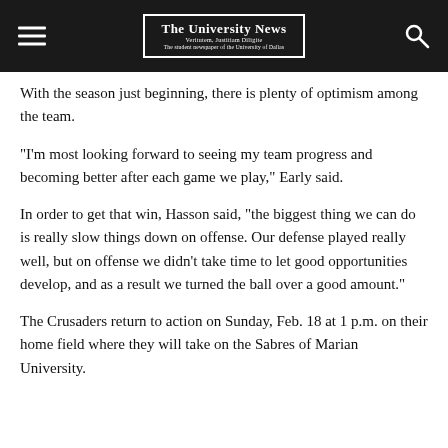The University News
With the season just beginning, there is plenty of optimism among the team.
“I’m most looking forward to seeing my team progress and becoming better after each game we play,” Early said.
In order to get that win, Hasson said, “the biggest thing we can do is really slow things down on offense. Our defense played really well, but on offense we didn’t take time to let good opportunities develop, and as a result we turned the ball over a good amount.”
The Crusaders return to action on Sunday, Feb. 18 at 1 p.m. on their home field where they will take on the Sabres of Marian University.